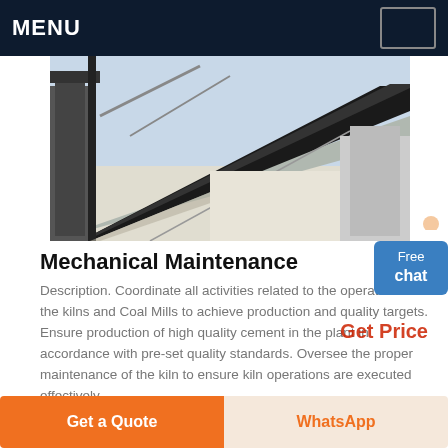MENU
[Figure (photo): Industrial conveyor belt and kiln equipment at a cement plant, aerial/overhead view showing steel structures and machinery.]
Mechanical Maintenance
Description. Coordinate all activities related to the operation of the kilns and Coal Mills to achieve production and quality targets. Ensure production of high quality cement in the plant in accordance with pre-set quality standards. Oversee the proper maintenance of the kiln to ensure kiln operations are executed effectively.
Get Price
Get a Quote
WhatsApp